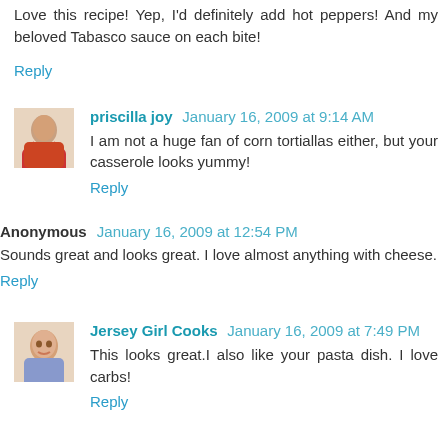Love this recipe! Yep, I'd definitely add hot peppers! And my beloved Tabasco sauce on each bite!
Reply
priscilla joy  January 16, 2009 at 9:14 AM
I am not a huge fan of corn tortiallas either, but your casserole looks yummy!
Reply
Anonymous  January 16, 2009 at 12:54 PM
Sounds great and looks great. I love almost anything with cheese.
Reply
Jersey Girl Cooks  January 16, 2009 at 7:49 PM
This looks great.I also like your pasta dish. I love carbs!
Reply